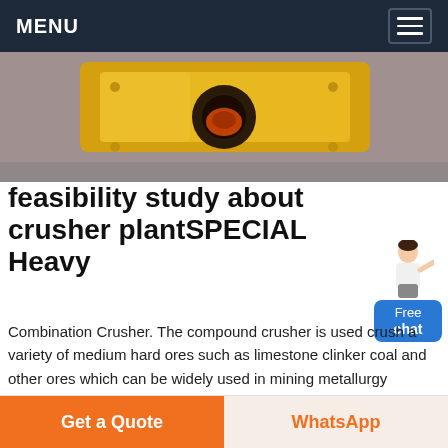MENU
[Figure (photo): Photo of yellow industrial crusher machine equipment]
feasibility study about crusher plantSPECIAL Heavy
Combination Crusher. The compound crusher is used crush a variety of medium hard ores such as limestone clinker coal and other ores which can be widely used in mining metallurgy refractory cement coal glass ceramics electric power and other industries and is one of the commonly used equipment in the crushing production line and the sand making production line.
Chat Online
Get a Quote | WhatsApp